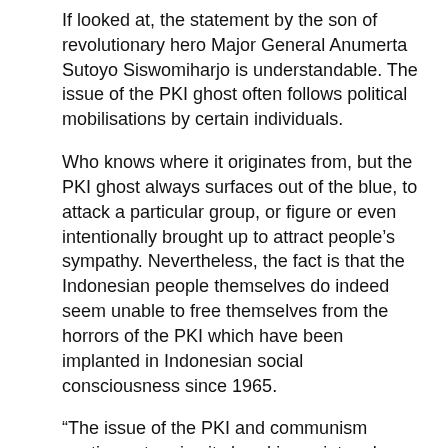If looked at, the statement by the son of revolutionary hero Major General Anumerta Sutoyo Siswomiharjo is understandable. The issue of the PKI ghost often follows political mobilisations by certain individuals.
Who knows where it originates from, but the PKI ghost always surfaces out of the blue, to attack a particular group, or figure or even intentionally brought up to attract people's sympathy. Nevertheless, the fact is that the Indonesian people themselves do indeed seem unable to free themselves from the horrors of the PKI which have been implanted in Indonesian social consciousness since 1965.
“The issue of the PKI and communism continues to raise its head in society, why does it happen and why does it continue to happen, because the issue is managed. Managed by sections of the political elite who use the PKI issue as a propaganda instrument to downgrade or bring down political opponents”, said Indonesian Public Institute Executive Director Karyono Wibowo when sought for an opinion by CNN Indonesia on Wednesday September 30.
Wibowo believes that the political elite consciously assist in the PKI ghost to frighten people and raise issue...